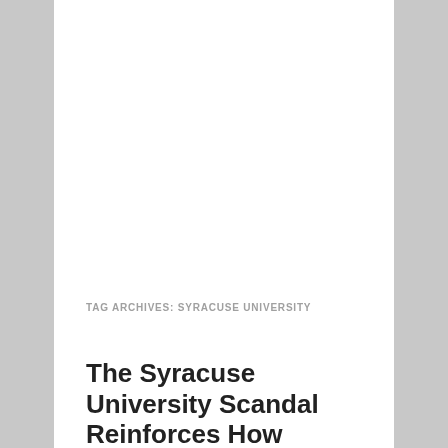TAG ARCHIVES: SYRACUSE UNIVERSITY
The Syracuse University Scandal Reinforces How